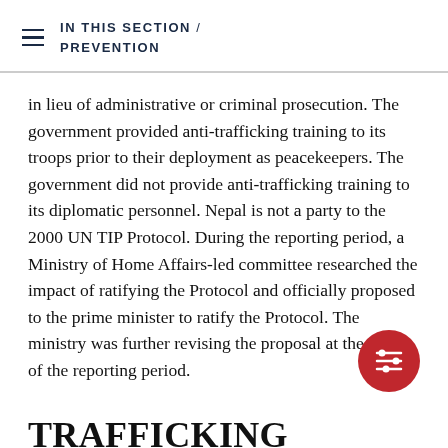IN THIS SECTION / PREVENTION
in lieu of administrative or criminal prosecution. The government provided anti-trafficking training to its troops prior to their deployment as peacekeepers. The government did not provide anti-trafficking training to its diplomatic personnel. Nepal is not a party to the 2000 UN TIP Protocol. During the reporting period, a Ministry of Home Affairs-led committee researched the impact of ratifying the Protocol and officially proposed to the prime minister to ratify the Protocol. The ministry was further revising the proposal at the close of the reporting period.
TRAFFICKING PROFILE